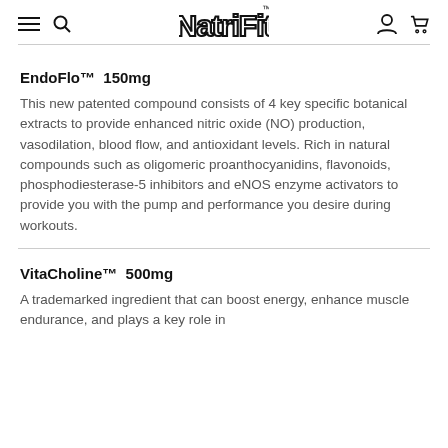NatriFit — navigation header with menu, search, logo, account, cart icons
EndoFlo™  150mg
This new patented compound consists of 4 key specific botanical extracts to provide enhanced nitric oxide (NO) production, vasodilation, blood flow, and antioxidant levels. Rich in natural compounds such as oligomeric proanthocyanidins, flavonoids, phosphodiesterase-5 inhibitors and eNOS enzyme activators to provide you with the pump and performance you desire during workouts.
VitaCholine™  500mg
A trademarked ingredient that can boost energy, enhance muscle endurance, and plays a key role in